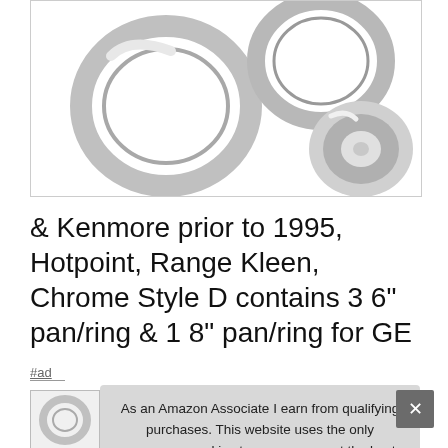[Figure (photo): Chrome stove burner drip pans and rings — multiple 6-inch and 8-inch chrome rings and drip bowls arranged on white background]
& Kenmore prior to 1995, Hotpoint, Range Kleen, Chrome Style D contains 3 6" pan/ring & 1 8" pan/ring for GE
#ad
[Figure (photo): Small thumbnail image of chrome burner drip pans]
As an Amazon Associate I earn from qualifying purchases. This website uses the only necessary cookies to ensure you get the best experience on our website. More information